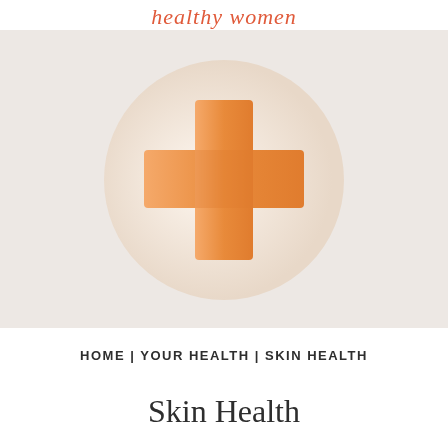healthy women
[Figure (illustration): A large circle with cream/light beige gradient on a taupe/grey background, containing an orange cross/plus symbol that also has a slight gradient (lighter on left, darker orange on right).]
HOME | YOUR HEALTH | SKIN HEALTH
Skin Health